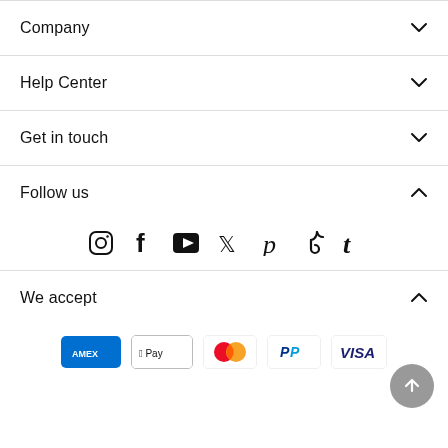Company
Help Center
Get in touch
Follow us
[Figure (other): Social media icons row: Instagram, Facebook, YouTube, Twitter, Pinterest, TikTok, Tumblr]
We accept
[Figure (other): Payment method logos: American Express, Apple Pay, Mastercard, PayPal, Visa]